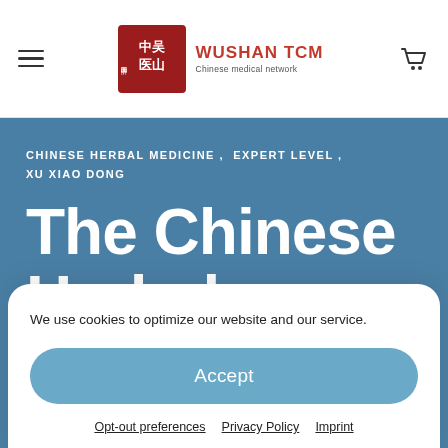WUSHAN TCM — Chinese medical network
CHINESE HERBAL MEDICINE ,  EXPERT LEVEL ,
XU XIAO DONG
The Chinese Herbal Coach
We use cookies to optimize our website and our service.
Accept
Opt-out preferences  Privacy Policy  Imprint